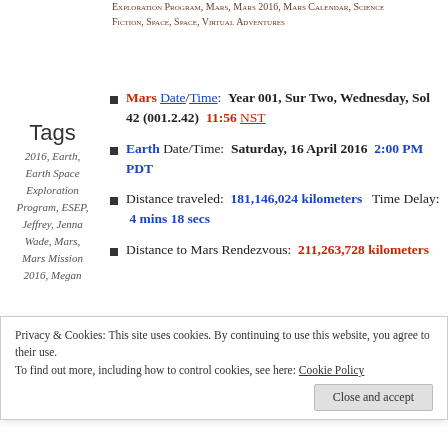Exploration Program, Mars, Mars 2016, Mars Calendar, Science Fiction, Space, Space, Virtual Adventures
Tags
2016, Earth, Earth Space Exploration Program, ESEP, Jeffrey, Jenna Wade, Mars, Mars Mission 2016, Megan
Mars Date/Time: Year 001, Sur Two, Wednesday, Sol 42 (001.2.42) 11:56 NST
Earth Date/Time: Saturday, 16 April 2016 2:00 PM PDT
Distance traveled: 181,146,024 kilometers Time Delay: 4 mins 18 secs
Distance to Mars Rendezvous: 211,263,728 kilometers
While Miranda gave Jeffrey a complete tour of the San Jose ESEP Center, Megan talked to Kelsey and her
Privacy & Cookies: This site uses cookies. By continuing to use this website, you agree to their use. To find out more, including how to control cookies, see here: Cookie Policy
Close and accept